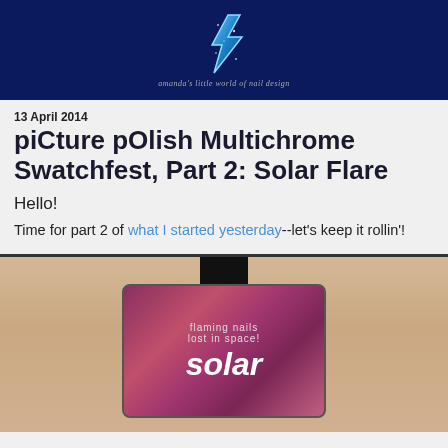[Figure (photo): Blog header image with dark navy blue background, a glittery blue lightning bolt icon, and italic text reading "amanda's little world of nail design"]
13 April 2014
piCture pOlish Multichrome Swatchfest, Part 2: Solar Flare
Hello!
Time for part 2 of what I started yesterday--let's keep it rollin'!
[Figure (photo): Photo of a nail polish bottle with a dark reddish-purple multichrome glitter finish, black cap, and label reading 'flaming nails lost in space! solar']